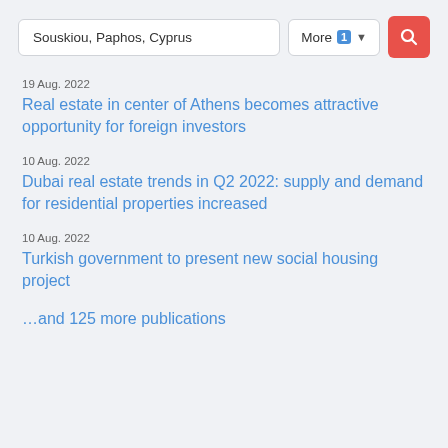Souskiou, Paphos, Cyprus | More 1 ▾ [search icon]
19 Aug. 2022
Real estate in center of Athens becomes attractive opportunity for foreign investors
10 Aug. 2022
Dubai real estate trends in Q2 2022: supply and demand for residential properties increased
10 Aug. 2022
Turkish government to present new social housing project
…and 125 more publications